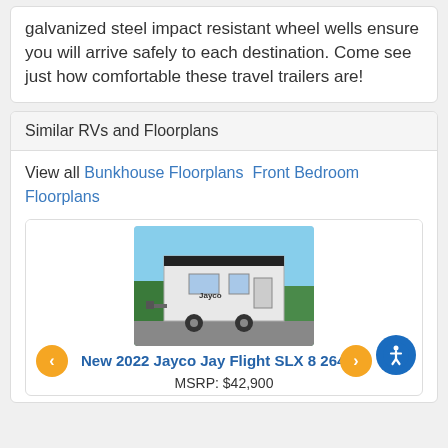galvanized steel impact resistant wheel wells ensure you will arrive safely to each destination. Come see just how comfortable these travel trailers are!
Similar RVs and Floorplans
View all Bunkhouse Floorplans  Front Bedroom Floorplans
[Figure (photo): Photo of a Jayco travel trailer (white/black, Jayco branded) parked outdoors with blue sky and trees in background.]
New 2022 Jayco Jay Flight SLX 8 264BH
MSRP: $42,900